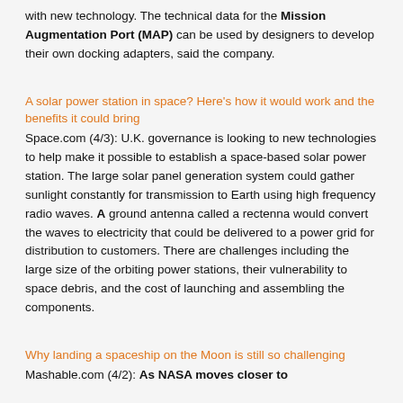with new technology. The technical data for the Mission Augmentation Port (MAP) can be used by designers to develop their own docking adapters, said the company.
A solar power station in space? Here's how it would work and the benefits it could bring
Space.com (4/3): U.K. governance is looking to new technologies to help make it possible to establish a space-based solar power station. The large solar panel generation system could gather sunlight constantly for transmission to Earth using high frequency radio waves. A ground antenna called a rectenna would convert the waves to electricity that could be delivered to a power grid for distribution to customers. There are challenges including the large size of the orbiting power stations, their vulnerability to space debris, and the cost of launching and assembling the components.
Why landing a spaceship on the Moon is still so challenging
Mashable.com (4/2): As NASA moves closer to